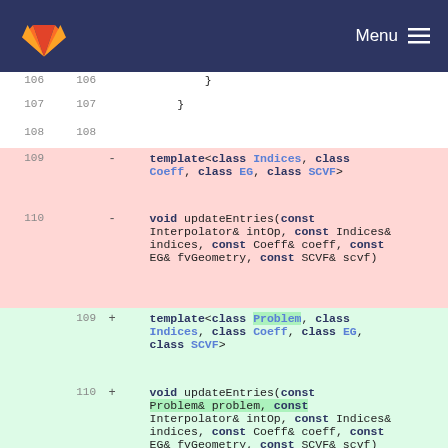GitLab Menu
[Figure (screenshot): Code diff view showing changes to a C++ template function. Lines 106-108 are unchanged. Lines 109-110 (old) are removed (red background) showing template<class Indices, class Coeff, class EG, class SCVF> and void updateEntries(const Interpolator& intOp, const Indices& indices, const Coeff& coeff, const EG& fvGeometry, const SCVF& scvf). Lines 109-110 (new) are added (green background) showing template<class Problem, class Indices, class Coeff, class EG, class SCVF> and void updateEntries(const Problem& problem, const Interpolator& intOp, const Indices& indices, const Coeff& coeff, const EG& fvGeometry, const SCVF& scvf). Lines 111-112 are unchanged showing { and const auto& scv = fvGeometry.scv(scvf.insideScvIdx());]